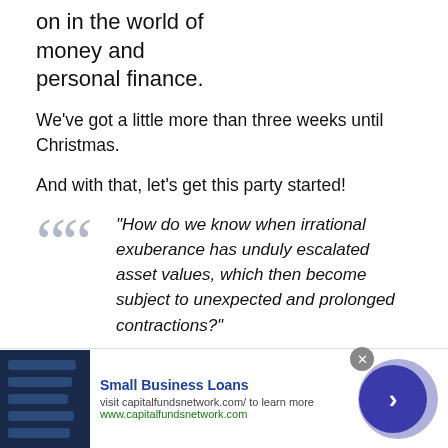on in the world of money and personal finance.
We've got a little more than three weeks until Christmas.
And with that, let's get this party started!
“How do we know when irrational exuberance has unduly escalated asset values, which then become subject to unexpected and prolonged contractions?”
–Alan Greenspan
[Figure (other): Advertisement banner for Small Business Loans from capitalfundsnetwork.com, with dark blue image placeholder, bold blue title, description text, green URL, close button, and arrow navigation button.]